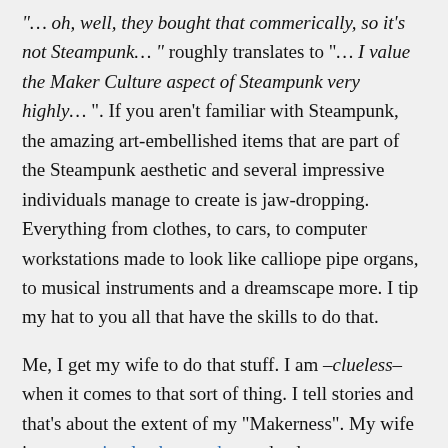"… oh, well, they bought that commerically, so it's not Steampunk… " roughly translates to "… I value the Maker Culture aspect of Steampunk very highly… ". If you aren't familiar with Steampunk, the amazing art-embellished items that are part of the Steampunk aesthetic and several impressive individuals manage to create is jaw-dropping. Everything from clothes, to cars, to computer workstations made to look like calliope pipe organs, to musical instruments and a dreamscape more. I tip my hat to you all that have the skills to do that.
Me, I get my wife to do that stuff. I am –clueless– when it comes to that sort of thing. I tell stories and that's about the extent of my "Makerness". My wife is an amazing leather worker and a decent seamstress. Everything else, I'm sorry to say, I have to buy from